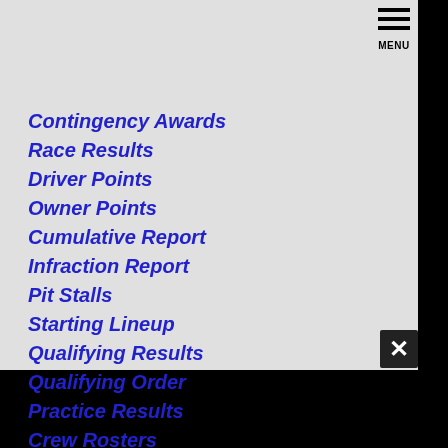Contingency Awards
Race Results
Driver Points
Owner Points
Cumulative Report
Infraction Report
Pit Stalls
Starting Lineup
Qualifying Results
Qualifying Order
Practice Results
Crew Rosters
Entry List
Goodyear Tire Notes